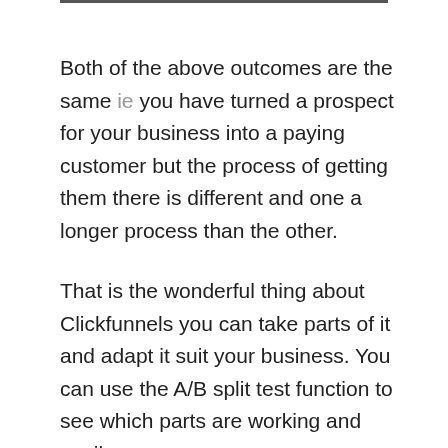Both of the above outcomes are the same ie you have turned a prospect for your business into a paying customer but the process of getting them there is different and one a longer process than the other.
That is the wonderful thing about Clickfunnels you can take parts of it and adapt it suit your business. You can use the A/B split test function to see which parts are working and easily